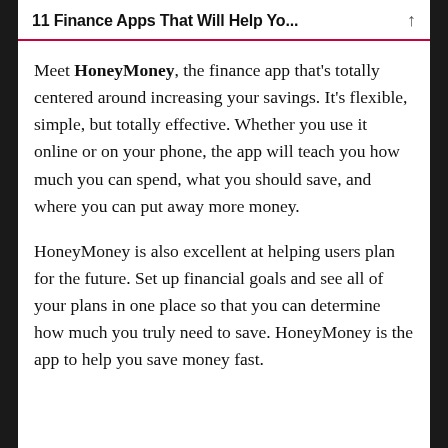11 Finance Apps That Will Help Yo...
Meet HoneyMoney, the finance app that's totally centered around increasing your savings. It's flexible, simple, but totally effective. Whether you use it online or on your phone, the app will teach you how much you can spend, what you should save, and where you can put away more money.
HoneyMoney is also excellent at helping users plan for the future. Set up financial goals and see all of your plans in one place so that you can determine how much you truly need to save. HoneyMoney is the app to help you save money fast.